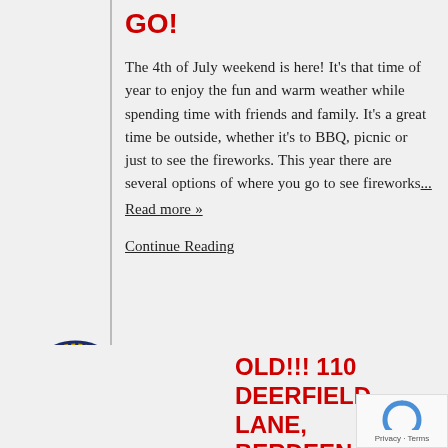GO!
The 4th of July weekend is here! It's that time of year to enjoy the fun and warm weather while spending time with friends and family.  It's a great time be outside, whether it's to BBQ, picnic or just to see the fireworks. This year there are several options of where you go to see fireworks... Read more »
Continue Reading
SOLD!!! 110 DEERFIELD LANE, ABERDEEN
We are extremely excited to announce that